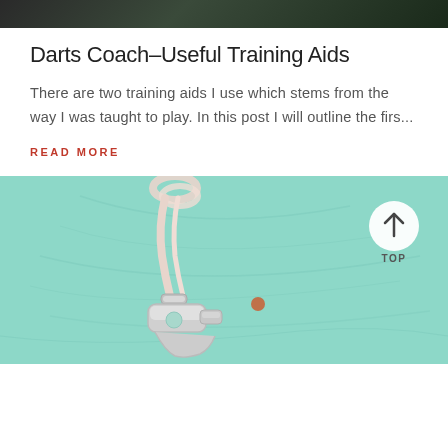[Figure (photo): Dark background image at top of page, appears to be an outdoor or sports scene]
Darts Coach–Useful Training Aids
There are two training aids I use which stems from the way I was taught to play. In this post I will outline the firs...
READ MORE
[Figure (photo): Whistle on lanyard against teal/mint green background with a small orange dot, and a circular back-to-top button with upward arrow and 'TOP' label]